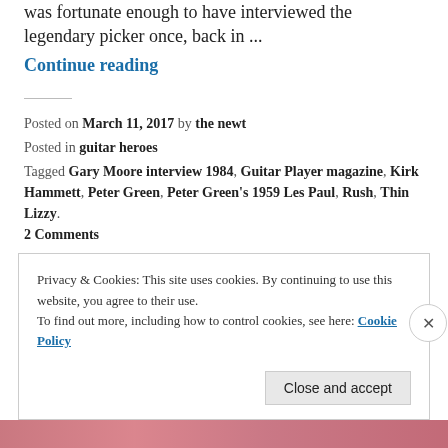was fortunate enough to have interviewed the legendary picker once, back in …
Continue reading
Posted on March 11, 2017 by the newt
Posted in guitar heroes
Tagged Gary Moore interview 1984, Guitar Player magazine, Kirk Hammett, Peter Green, Peter Green's 1959 Les Paul, Rush, Thin Lizzy.
2 Comments
Privacy & Cookies: This site uses cookies. By continuing to use this website, you agree to their use.
To find out more, including how to control cookies, see here: Cookie Policy
Close and accept